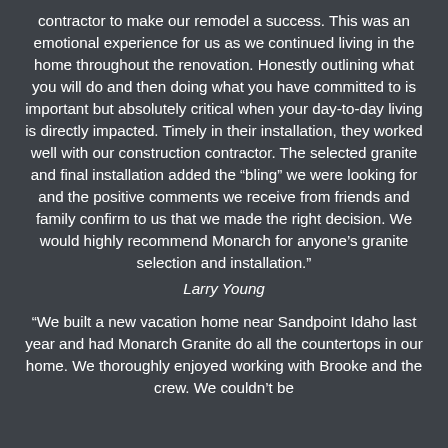contractor to make our remodel a success. This was an emotional experience for us as we continued living in the home throughout the renovation. Honestly outlining what you will do and then doing what you have committed to is important but absolutely critical when your day-to-day living is directly impacted. Timely in their installation, they worked well with our construction contractor. The selected granite and final installation added the “bling” we were looking for and the positive comments we receive from friends and family confirm to us that we made the right decision. We would highly recommend Monarch for anyone’s granite selection and installation.”
Larry Young
“We built a new vacation home near Sandpoint Idaho last year and had Monarch Granite do all the countertops in our home. We thoroughly enjoyed working with Brooke and the crew. We couldn’t be